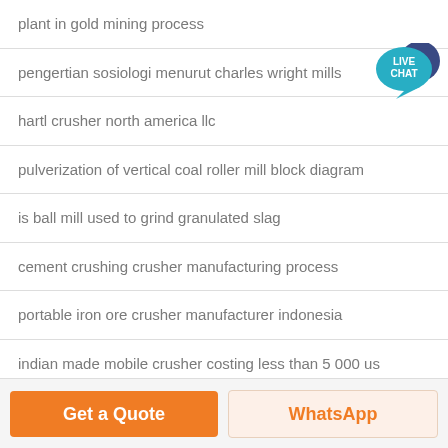plant in gold mining process
pengertian sosiologi menurut charles wright mills
hartl crusher north america llc
pulverization of vertical coal roller mill block diagram
is ball mill used to grind granulated slag
cement crushing crusher manufacturing process
portable iron ore crusher manufacturer indonesia
indian made mobile crusher costing less than 5 000 us
[Figure (other): Live Chat badge with teal speech bubble and dark blue circle overlay]
Get a Quote
WhatsApp